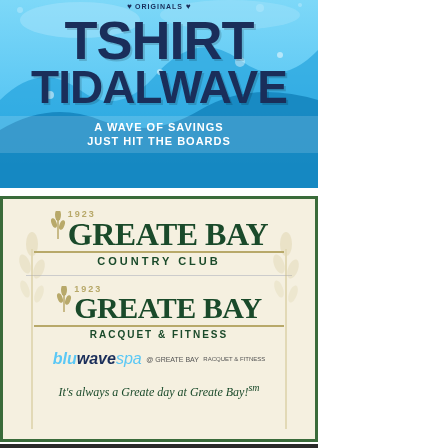[Figure (illustration): TShirt Tidalwave advertisement — blue ocean wave background with bold navy text reading 'TSHIRT TIDALWAVE' and subtitle 'A WAVE OF SAVINGS JUST HIT THE BOARDS'. Originals branding at top.]
[Figure (logo): Greate Bay Country Club advertisement featuring three logos: Greate Bay Country Club (est. 1923), Greate Bay Racquet & Fitness (est. 1923), and Blu Wave Spa @ Greate Bay. Tagline: 'It's always a Greate day at Greate Bay!']
[Figure (other): Dark bar at bottom of page, partially visible.]